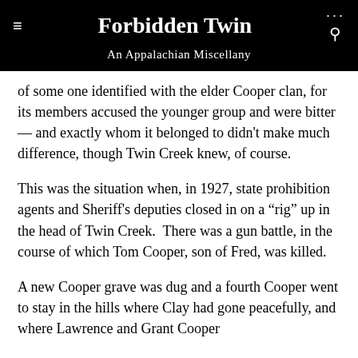Forbidden Twin — An Appalachian Miscellany
of some one identified with the elder Cooper clan, for its members accused the younger group and were bitter — and exactly whom it belonged to didn't make much difference, though Twin Creek knew, of course.
This was the situation when, in 1927, state prohibition agents and Sheriff's deputies closed in on a “rig” up in the head of Twin Creek.  There was a gun battle, in the course of which Tom Cooper, son of Fred, was killed.
A new Cooper grave was dug and a fourth Cooper went to stay in the hills where Clay had gone peacefully, and where Lawrence and Grant Cooper